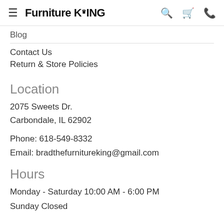Furniture King
Blog
Contact Us
Return & Store Policies
Location
2075 Sweets Dr.
Carbondale, IL 62902
Phone: 618-549-8332
Email: bradthefurnitureking@gmail.com
Hours
Monday - Saturday 10:00 AM - 6:00 PM
Sunday Closed